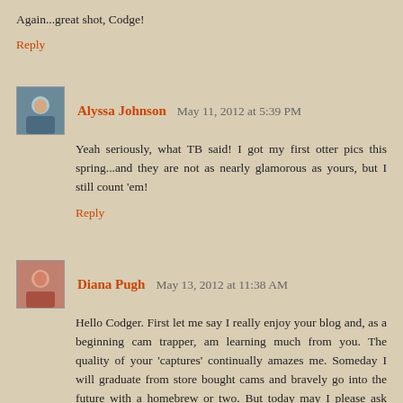Again...great shot, Codge!
Reply
Alyssa Johnson May 11, 2012 at 5:39 PM
Yeah seriously, what TB said! I got my first otter pics this spring...and they are not as nearly glamorous as yours, but I still count 'em!
Reply
Diana Pugh May 13, 2012 at 11:38 AM
Hello Codger. First let me say I really enjoy your blog and, as a beginning cam trapper, am learning much from you. The quality of your 'captures' continually amazes me. Someday I will graduate from store bought cams and bravely go into the future with a homebrew or two. But today may I please ask where you purchase castoreum and muskrat musk and in what strength & form? Thank you very much for sharing.